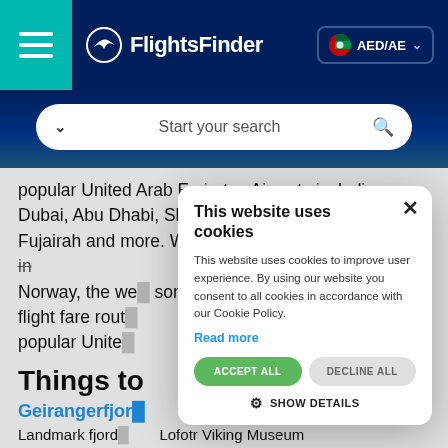FlightsFinder — AED/AE
[Figure (screenshot): Search bar with 'Start your search' placeholder and magnifying glass icon]
popular United Arab Emirates Airports including Dubai, Abu Dhabi, Sharjah, Al Maktoum, Al Ain, Fujairah and more. We also list the best things to do in Norway, the we... some travel vi... r flight fare rout... popular Unite...
Things to
Geirangerfjor...
Landmark fjord... cliffs & waterfalls
Lofotr Viking Museum
[Figure (screenshot): Cookie consent modal dialog overlay]
This website uses cookies
This website uses cookies to improve user experience. By using our website you consent to all cookies in accordance with our Cookie Policy.
Read more
ACCEPT ALL
DECLINE ALL
SHOW DETAILS